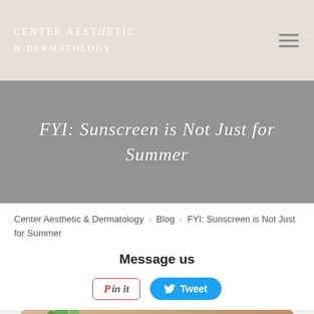CENTER AESTHETIC & DERMATOLOGY
FYI: Sunscreen is Not Just for Summer
Center Aesthetic & Dermatology > Blog > FYI: Sunscreen is Not Just for Summer
Message us
[Figure (other): Pin it and Tweet social sharing buttons]
[Figure (photo): Photo showing aloe vera and sunscreen product at bottom of page]